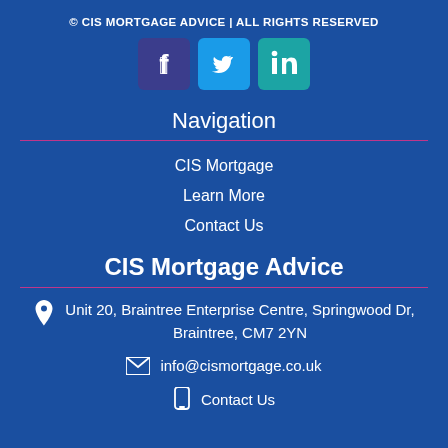© CIS MORTGAGE ADVICE | ALL RIGHTS RESERVED
[Figure (infographic): Three social media icon buttons: Facebook (dark blue/purple), Twitter (light blue), LinkedIn (teal)]
Navigation
CIS Mortgage
Learn More
Contact Us
CIS Mortgage Advice
Unit 20, Braintree Enterprise Centre, Springwood Dr, Braintree, CM7 2YN
info@cismortgage.co.uk
Contact Us